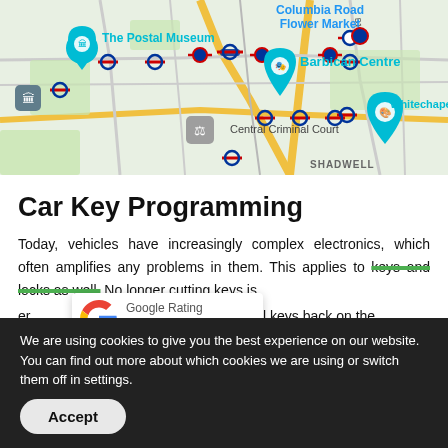[Figure (map): Google Maps screenshot showing central London area with landmarks: The Postal Museum, Columbia Road Flower Market, Barbican Centre, Central Criminal Court, Whitechapel Gallery, with tube station icons and roads including B135, B108, A107. SHADWELL label at bottom right.]
Car Key Programming
Today, vehicles have increasingly complex electronics, which often amplifies any problems in them. This applies to keys and locks as well. No longer cutting keys is er original keys back on the ro e on the road again only
[Figure (other): Google Rating widget showing 5.0 stars with orange star icons]
We are using cookies to give you the best experience on our website. You can find out more about which cookies we are using or switch them off in settings.